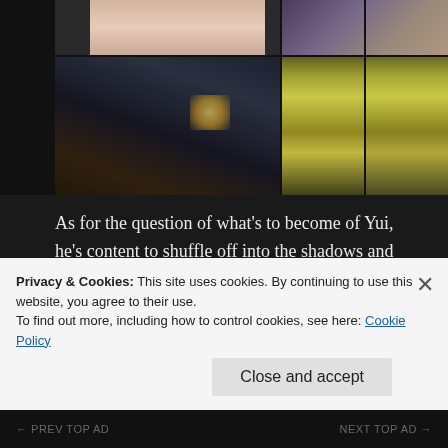[Figure (photo): Collage of anime screenshots showing characters from what appears to be an anime series. Top sections show character close-ups and group scenes; bottom left shows two characters in a dark study/library room, bottom right shows two blonde child characters.]
As for the question of what's to become of Yui, he's content to shuffle off into the shadows and bear all of the horrible things he did. Akira won't hear of it, and it takes a slap to Yui's face to get him to listen when Akira says they're brothers and twins and should share the burdens together. Yui is also heartened when
Privacy & Cookies: This site uses cookies. By continuing to use this website, you agree to their use.
To find out more, including how to control cookies, see here: Cookie Policy
Close and accept